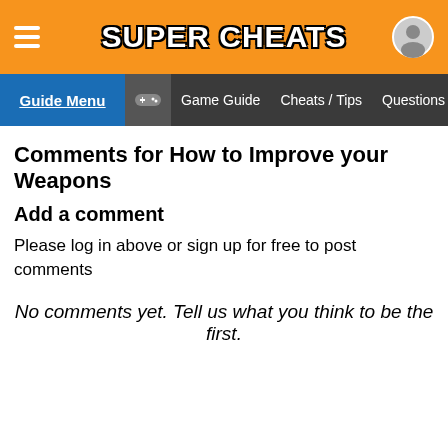SUPER CHEATS
Guide Menu | Game Guide | Cheats / Tips | Questions | More
Comments for How to Improve your Weapons
Add a comment
Please log in above or sign up for free to post comments
No comments yet. Tell us what you think to be the first.